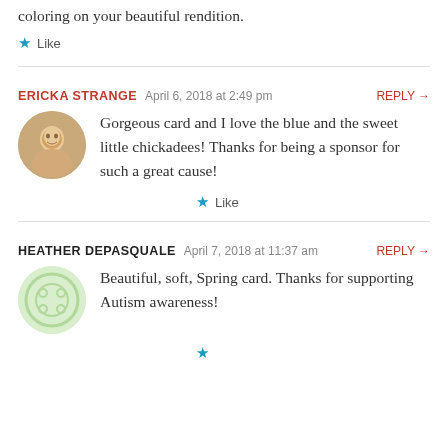coloring on your beautiful rendition.
★ Like
ERICKA STRANGE   April 6, 2018 at 2:49 pm   REPLY →
Gorgeous card and I love the blue and the sweet little chickadees! Thanks for being a sponsor for such a great cause!
★ Like
HEATHER DEPASQUALE   April 7, 2018 at 11:37 am   REPLY →
Beautiful, soft, Spring card. Thanks for supporting Autism awareness!
★ Like